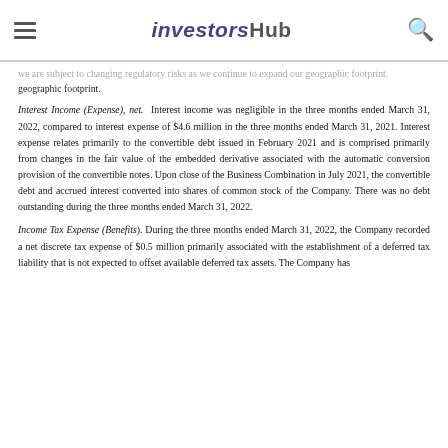InvestorsHub
geographic footprint.
Interest Income (Expense), net. Interest income was negligible in the three months ended March 31, 2022, compared to interest expense of $4.6 million in the three months ended March 31, 2021. Interest expense relates primarily to the convertible debt issued in February 2021 and is comprised primarily from changes in the fair value of the embedded derivative associated with the automatic conversion provision of the convertible notes. Upon close of the Business Combination in July 2021, the convertible debt and accrued interest converted into shares of common stock of the Company. There was no debt outstanding during the three months ended March 31, 2022.
Income Tax Expense (Benefits). During the three months ended March 31, 2022, the Company recorded a net discrete tax expense of $0.5 million primarily associated with the establishment of a deferred tax liability that is not expected to offset available deferred tax assets. The Company has